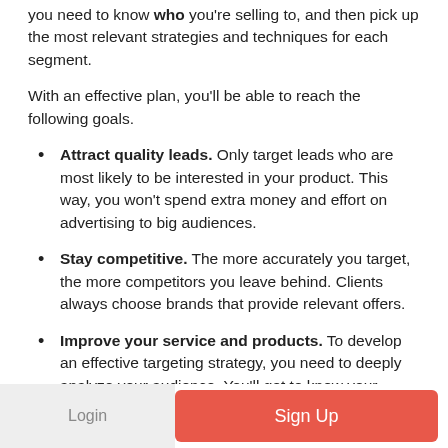you need to know who you're selling to, and then pick up the most relevant strategies and techniques for each segment.
With an effective plan, you'll be able to reach the following goals.
Attract quality leads. Only target leads who are most likely to be interested in your product. This way, you won't spend extra money and effort on advertising to big audiences.
Stay competitive. The more accurately you target, the more competitors you leave behind. Clients always choose brands that provide relevant offers.
Improve your service and products. To develop an effective targeting strategy, you need to deeply analyze your audience. You'll get to know your
Login  Sign Up